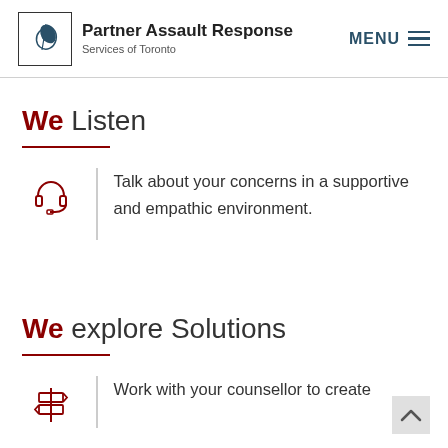Partner Assault Response Services of Toronto | MENU
We Listen
Talk about your concerns in a supportive and empathic environment.
We explore Solutions
Work with your counsellor to create